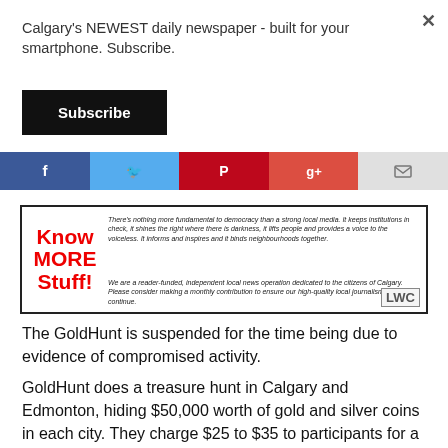Calgary's NEWEST daily newspaper - built for your smartphone. Subscribe.
[Figure (other): Black Subscribe button]
[Figure (other): Social media sharing bar with Facebook, Twitter, Pinterest, Google+, and Email icons]
[Figure (other): Know MORE Stuff! advertisement banner with LWC logo. Text: There's nothing more fundamental to democracy than a strong local media. It keeps institutions in check, it shines the right where there is darkness, it lifts people and provides a voice to the voiceless. It informs and inspires and it binds neighbourhoods together. We are a reader-funded, independent local news operation dedicated to the citizens of Calgary. Please consider making a monthly contribution to ensure our high-quality local journalism can continue.]
The GoldHunt is suspended for the time being due to evidence of compromised activity.
GoldHunt does a treasure hunt in Calgary and Edmonton, hiding $50,000 worth of gold and silver coins in each city. They charge $25 to $35 to participants for a map to use for hunting.